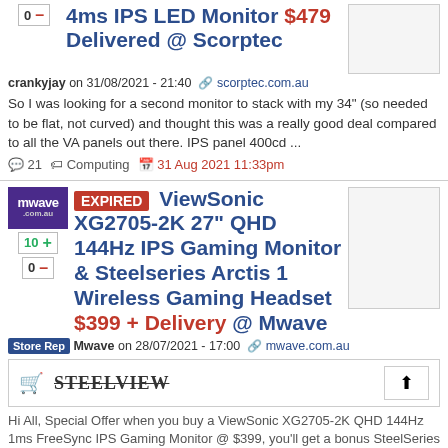4ms IPS LED Monitor $479 Delivered @ Scorptec
crankyjay on 31/08/2021 - 21:40  scorptec.com.au
So I was looking for a second monitor to stack with my 34" (so needed to be flat, not curved) and thought this was a really good deal compared to all the VA panels out there. IPS panel 400cd ...
💬 21 🏷 Computing 📅 31 Aug 2021 11:33pm
EXPIRED ViewSonic XG2705-2K 27" QHD 144Hz IPS Gaming Monitor & Steelseries Arctis 1 Wireless Gaming Headset $399 + Delivery @ Mwave
Store Rep Mwave on 28/07/2021 - 17:00  mwave.com.au
[Figure (other): Product banner with cart icon, STEELVIEW strikethrough text logo, and upload arrow button]
Hi All, Special Offer when you buy a ViewSonic XG2705-2K QHD 144Hz 1ms FreeSync IPS Gaming Monitor @ $399, you'll get a bonus SteelSeries Arctis 1 Wireless Gaming Headset valued at